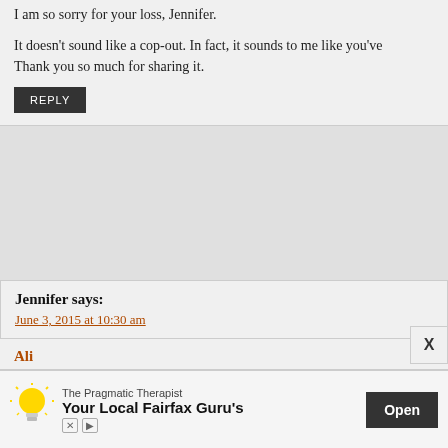I am so sorry for your loss, Jennifer.
It doesn't sound like a cop-out. In fact, it sounds to me like you've Thank you so much for sharing it.
REPLY
Jennifer says:
June 3, 2015 at 10:30 am
I mean, don't be caught in the trap of thinking that you can fix it. Tha and ight. You can't. This place is fucked up. All we can do s ach to small, and absurd ways we can. Sometimes love is a bone marrow tra and all the extra days you can eke out, knowing that it doesn't make s
REPLY
Ali
The Pragmatic Therapist
Your Local Fairfax Guru's
Open